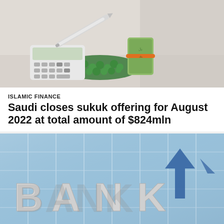[Figure (photo): Photo of a calculator, a silver pen, green decorative balls, and a rolled-up bundle of Saudi riyal banknotes with an orange rubber band, arranged on a light surface — representing Islamic finance.]
ISLAMIC FINANCE
Saudi closes sukuk offering for August 2022 at total amount of $824mln
[Figure (photo): Photo of a modern glass-facade bank building exterior with large 3D silver letters spelling 'BANK' and a blue star/arrow emblem mounted on the glass wall.]